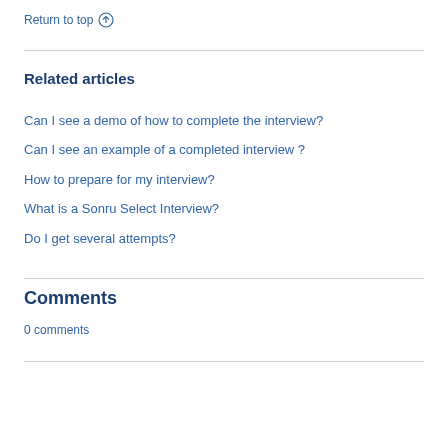Return to top ↑
Related articles
Can I see a demo of how to complete the interview?
Can I see an example of a completed interview ?
How to prepare for my interview?
What is a Sonru Select Interview?
Do I get several attempts?
Comments
0 comments